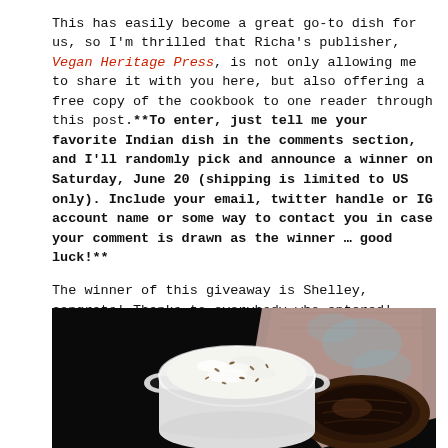This has easily become a great go-to dish for us, so I'm thrilled that Richa's publisher, Vegan Heritage Press, is not only allowing me to share it with you here, but also offering a free copy of the cookbook to one reader through this post.**To enter, just tell me your favorite Indian dish in the comments section, and I'll randomly pick and announce a winner on Saturday, June 20 (shipping is limited to US only). Include your email, twitter handle or IG account name or some way to contact you in case your comment is drawn as the winner ... good luck!**
The winner of this giveaway is Shelley, congrats! Thanks to everybody who entered!
[Figure (photo): Top-down photo on a black background showing a white ceramic bowl with handles filled with white rice topped with cumin seeds, next to a wooden bowl and a patterned pink/blue fabric napkin.]